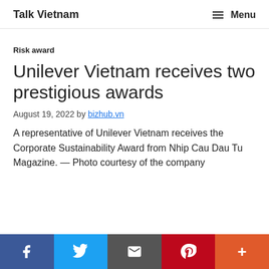Talk Vietnam  Menu
Risk award
Unilever Vietnam receives two prestigious awards
August 19, 2022 by bizhub.vn
A representative of Unilever Vietnam receives the Corporate Sustainability Award from Nhip Cau Dau Tu Magazine. — Photo courtesy of the company